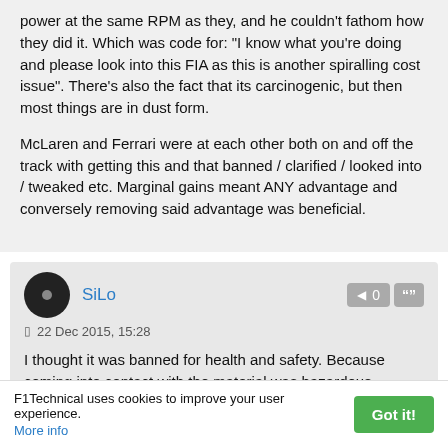power at the same RPM as they, and he couldn't fathom how they did it. Which was code for: "I know what you're doing and please look into this FIA as this is another spiralling cost issue". There's also the fact that its carcinogenic, but then most things are in dust form.
McLaren and Ferrari were at each other both on and off the track with getting this and that banned / clarified / looked into / tweaked etc. Marginal gains meant ANY advantage and conversely removing said advantage was beneficial.
SiLo
22 Dec 2015, 15:28
I thought it was banned for health and safety. Because coming into contact with the material was hazardous
F1Technical uses cookies to improve your user experience. More info